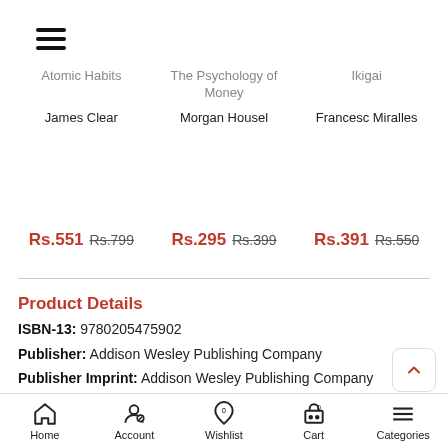[Figure (screenshot): Hamburger menu icon at top left]
Atomic Habits | The Psychology of Money | Ikigai
James Clear | Morgan Housel | Francesc Miralles
Rs.551 Rs.799 | Rs.295 Rs.399 | Rs.391 Rs.550
Product Details
ISBN-13: 9780205475902
Publisher: Addison Wesley Publishing Company
Publisher Imprint: Addison Wesley Publishing Company
Edition: 0002-
Language: English
Home | Account | Wishlist | Cart | Categories